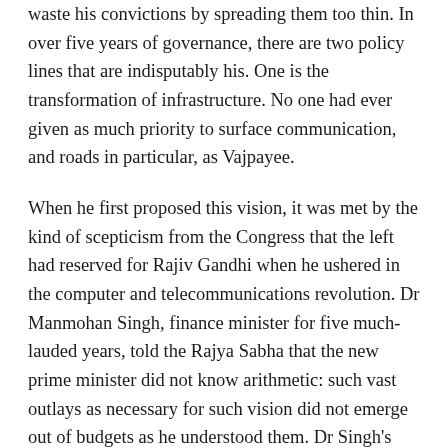waste his convictions by spreading them too thin. In over five years of governance, there are two policy lines that are indisputably his. One is the transformation of infrastructure. No one had ever given as much priority to surface communication, and roads in particular, as Vajpayee.
When he first proposed this vision, it was met by the kind of scepticism from the Congress that the left had reserved for Rajiv Gandhi when he ushered in the computer and telecommunications revolution. Dr Manmohan Singh, finance minister for five much-lauded years, told the Rajya Sabha that the new prime minister did not know arithmetic: such vast outlays as necessary for such vision did not emerge out of budgets as he understood them. Dr Singh's successor, the academically-undoctored Yashwant Sinha, showed precisely how a budget could produce the money for investment in life. Those roads are a reality and a vital element of the feel-good factor that has energized our economy towards an